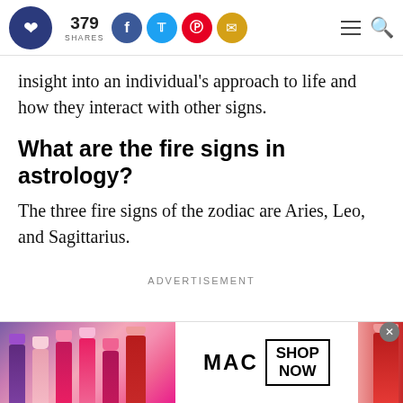379 SHARES [social icons: Facebook, Twitter, Pinterest, Email] [hamburger menu] [search]
insight into an individual's approach to life and how they interact with other signs.
What are the fire signs in astrology?
The three fire signs of the zodiac are Aries, Leo, and Sagittarius.
ADVERTISEMENT
[Figure (photo): MAC Cosmetics advertisement banner showing colorful lipsticks on the left and right sides, MAC logo in the center with a SHOP NOW button.]